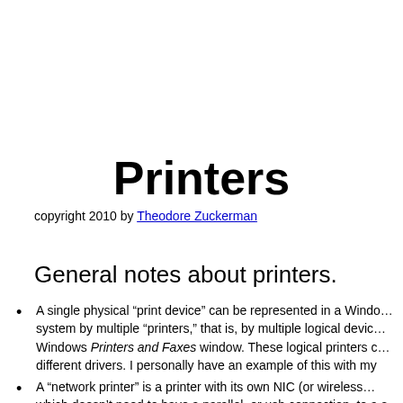Printers
copyright 2010 by Theodore Zuckerman
General notes about printers.
A single physical “print device” can be represented in a Windows system by multiple “printers,” that is, by multiple logical devices in the Windows Printers and Faxes window. These logical printers can use different drivers. I personally have an example of this with my
A “network printer” is a printer with its own NIC (or wireless which doesn’t need to have a parallel, or usb connection, to a s
In this situation the NIC in the printer connects directly to the